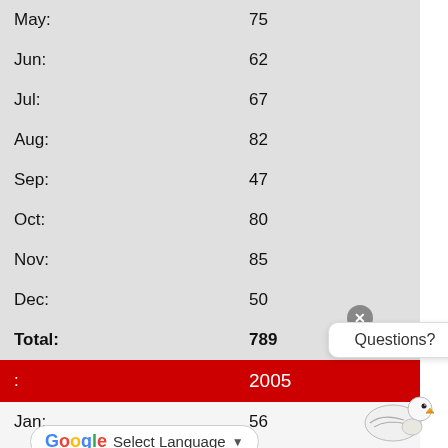| Month | Value |
| --- | --- |
| May: | 75 |
| Jun: | 62 |
| Jul: | 67 |
| Aug: | 82 |
| Sep: | 47 |
| Oct: | 80 |
| Nov: | 85 |
| Dec: | 50 |
| Total: | 789 |
| : | 2005 |
| Jan: | 56 |
| Feb: | 37 |
| Apr: | 47 |
Questions?